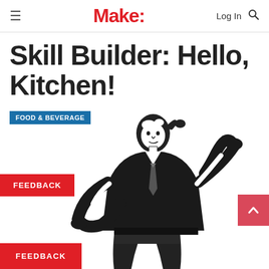Make:
Skill Builder: Hello, Kitchen!
FOOD & BEVERAGE
[Figure (illustration): Black and white illustration of a man in a vest and tie, hands on hips and head, looking frustrated or confident, in a comic/retro style.]
FEEDBACK